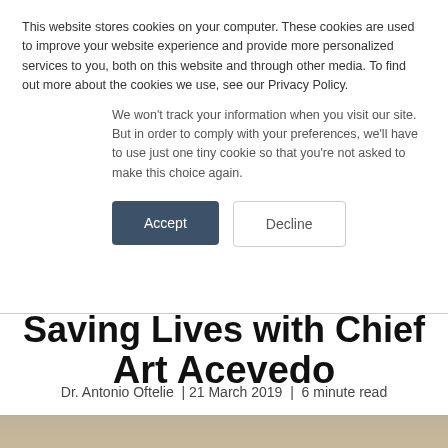This website stores cookies on your computer. These cookies are used to improve your website experience and provide more personalized services to you, both on this website and through other media. To find out more about the cookies we use, see our Privacy Policy.
We won't track your information when you visit our site. But in order to comply with your preferences, we'll have to use just one tiny cookie so that you're not asked to make this choice again.
Accept
Decline
Saving Lives with Chief Art Acevedo
Dr. Antonio Oftelie  | 21 March 2019  |  6 minute read
[Figure (photo): Photo of Chief Art Acevedo partially visible at bottom of page, with a yellow border box overlay]